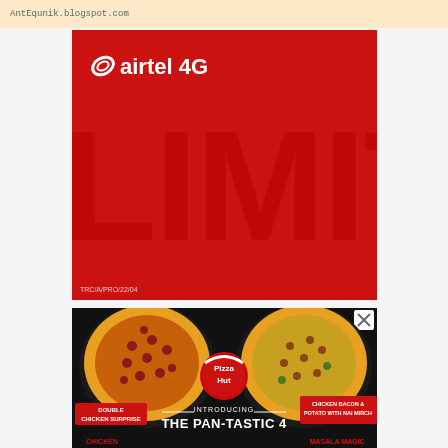AntEqunik.blogspot.com
[Figure (illustration): Airtel 4G advertisement with red background, 'LIMIT' text in dark red, airtel 4G logo in white top-left, regulatory code TRC/A/PRO/22/04 at bottom-left]
[Figure (illustration): Pizza Hut advertisement on black background showing two pizzas (Double Chicken Surprise and Chicken Bacon & Potato with Nai Mirch), Pizza Hut logo in center, text 'INTRODUCING THE PAN-TASTIC 4', labels for Chicken and Masala Magic at bottom]